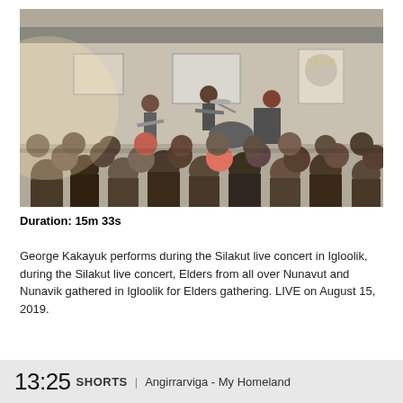[Figure (photo): Outdoor concert scene showing a band performing on a makeshift stage in front of a large crowd. Musicians play guitar and other instruments. A building with posters is visible in the background. The lighting suggests a bright overcast day.]
Duration: 15m 33s
George Kakayuk performs during the Silakut live concert in Igloolik, during the Silakut live concert, Elders from all over Nunavut and Nunavik gathered in Igloolik for Elders gathering. LIVE on August 15, 2019.
13:25 Shorts | Angirrarviga - My Homeland